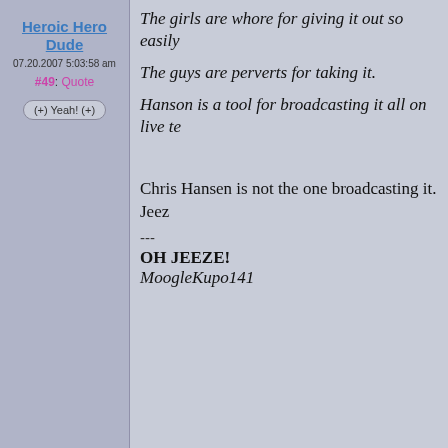Heroic Hero Dude
07.20.2007 5:03:58 am
#49: Quote
(+) Yeah! (+)
The girls are whore for giving it out so easily
The guys are perverts for taking it.
Hanson is a tool for broadcasting it all on live te...
Chris Hansen is not the one broadcasting it. Jeez...
---
OH JEEZE!
MoogleKupo141
ExThaNemesis
07.20.2007 5:06:08 am
#50: Quote
(+) Yeah! (+)
If you actually knew what you were talking abou... know the book consisted of commentary from ac... the subject. The only thing he did was organize t... basically.
He was yammering on about how because he's s... these guys and watched the chat room bullcrap t... unique point of view about the subject.
And you still didn't respond to my other point.